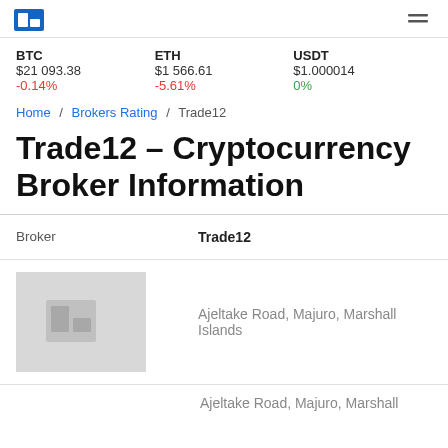Logo / Navigation header
BTC $21 093.38 -0.14%  ETH $1 566.61 -5.61%  USDT $1.000014 0%
Home / Brokers Rating / Trade12
Trade12 – Cryptocurrency Broker Information
| Field | Value |
| --- | --- |
| Broker | Trade12 |
|  | Ajeltake Road, Majuro, Marshall Islands |
|  | Ajeltake Road, Majuro, Marshall |